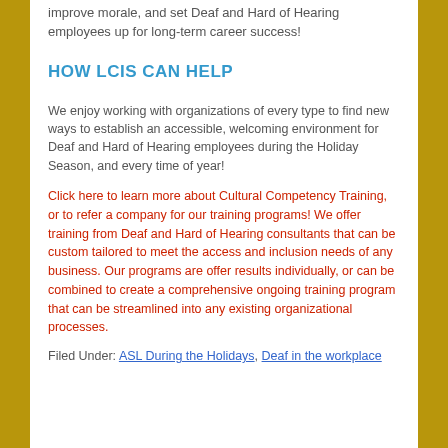improve morale, and set Deaf and Hard of Hearing employees up for long-term career success!
HOW LCIS CAN HELP
We enjoy working with organizations of every type to find new ways to establish an accessible, welcoming environment for Deaf and Hard of Hearing employees during the Holiday Season, and every time of year!
Click here to learn more about Cultural Competency Training, or to refer a company for our training programs! We offer training from Deaf and Hard of Hearing consultants that can be custom tailored to meet the access and inclusion needs of any business. Our programs are offer results individually, or can be combined to create a comprehensive ongoing training program that can be streamlined into any existing organizational processes.
Filed Under: ASL During the Holidays, Deaf in the workplace